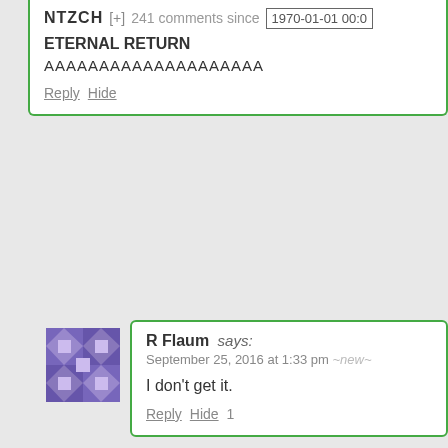NTZCH [+] 241 comments since 1970-01-01 00:0
ETERNAL RETURN
AAAAAAAAAAAAAAAAAAAA
Reply Hide
R Flaum says: September 25, 2016 at 1:33 pm ~new~
I don't get it.
Reply Hide 1
LHC says: September 25, 2016 at 1:37 pm ~new~
With the exception of the S, which I fo the same consonants as "Nietzsche", the concept of "eternal return" – that i the universe must loop, and so every weight of eternity